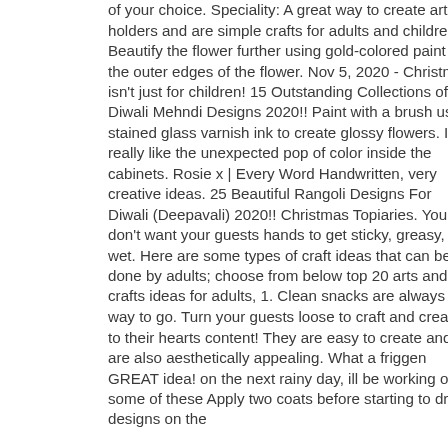of your choice. Speciality: A great way to create artistic holders and are simple crafts for adults and children. Beautify the flower further using gold-colored paint on the outer edges of the flower. Nov 5, 2020 - Christmas isn't just for children! 15 Outstanding Collections of Diwali Mehndi Designs 2020!! Paint with a brush using stained glass varnish ink to create glossy flowers. I really like the unexpected pop of color inside the cabinets. Rosie x | Every Word Handwritten, very creative ideas. 25 Beautiful Rangoli Designs For Diwali (Deepavali) 2020!! Christmas Topiaries. You don't want your guests hands to get sticky, greasy, or wet. Here are some types of craft ideas that can be done by adults; choose from below top 20 arts and crafts ideas for adults, 1. Clean snacks are always the way to go. Turn your guests loose to craft and create to their hearts content! They are easy to create and are also aesthetically appealing. What a friggen GREAT idea! on the next rainy day, ill be working on some of these Apply two coats before starting to draw designs on the